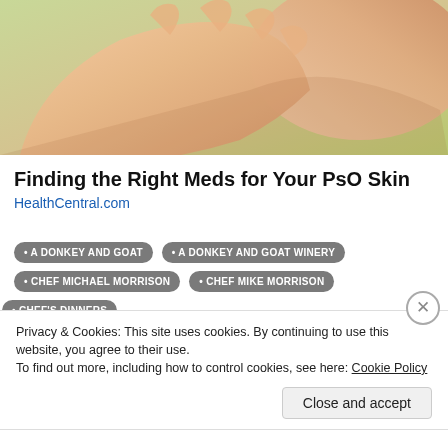[Figure (photo): Close-up photograph of two hands touching or holding, with a light green background. Skin tones visible, suggesting a medical/health context related to skin condition.]
Finding the Right Meds for Your PsO Skin
HealthCentral.com
A DONKEY AND GOAT
A DONKEY AND GOAT WINERY
CHEF MICHAEL MORRISON
CHEF MIKE MORRISON
CHEF'S DINNERS
CHEF'S DINNERS IN SF
COCO 500
COCO 500 RESTAURANT
Privacy & Cookies: This site uses cookies. By continuing to use this website, you agree to their use.
To find out more, including how to control cookies, see here: Cookie Policy
Close and accept